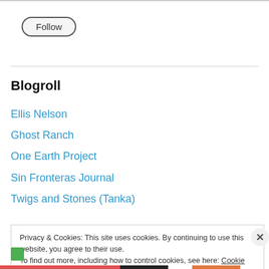Follow
Blogroll
Ellis Nelson
Ghost Ranch
One Earth Project
Sin Fronteras Journal
Twigs and Stones (Tanka)
Privacy & Cookies: This site uses cookies. By continuing to use this website, you agree to their use.
To find out more, including how to control cookies, see here: Cookie Policy
Close and accept